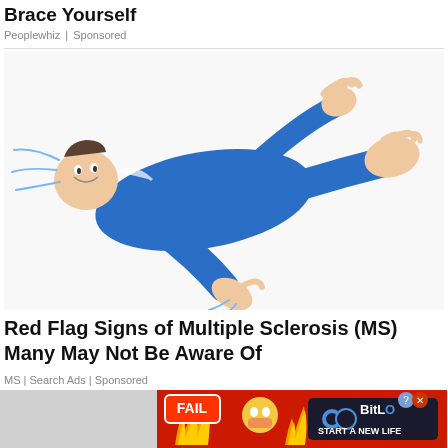Brace Yourself
Peoplewhiz | Sponsored
[Figure (illustration): Cartoon illustration of a person in a blue suit lying on their back with arms and legs raised, appearing to be in spasm or convulsion, on a white background.]
Red Flag Signs of Multiple Sclerosis (MS) Many May Not Be Aware Of
MS | Search Ads | Sponsored
[Figure (illustration): Advertisement banner with a red background showing flames, a cartoon character, and the BitLife logo with text 'START A NEW LIFE'. Includes a fail badge and a character facepalming.]